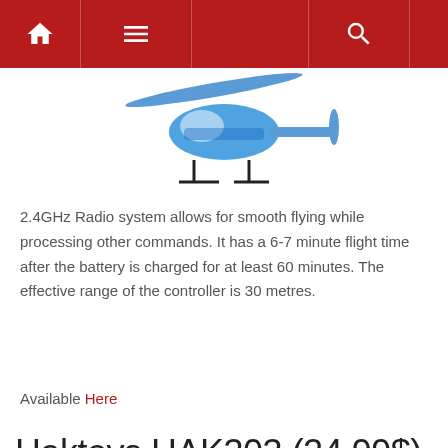Navigation bar with home, menu, and search icons
[Figure (photo): Partial view of a blue and white RC helicopter against a white background]
2.4GHz Radio system allows for smooth flying while processing other commands. It has a 6-7 minute flight time after the battery is charged for at least 60 minutes. The effective range of the controller is 30 metres.
Available Here
Haktoys HAK303 (24.99$)